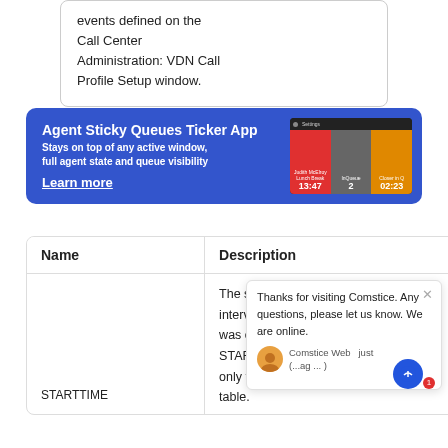events defined on the Call Center Administration: VDN Call Profile Setup window.
[Figure (screenshot): Agent Sticky Queues Ticker App advertisement banner with blue background showing app description and screenshot of the widget with red, gray and orange panels showing agent state and queue data (13:47, 2, 02:23). Text: 'Agent Sticky Queues Ticker App', 'Stays on top of any active window, full agent state and queue visibility', 'Learn more']
| Name | Description | Type |
| --- | --- | --- |
| STARTTIME | The start time of the interval for which data was collected. STARTTIME applies only to the interval table. | S (...hvdn table), |
[Figure (screenshot): Chat popup overlay: 'Thanks for visiting Comstice. Any questions, please let us know. We are online.' with agent avatar and 'Comstice Web just ...' label, and blue chat button with notification badge showing 1.]